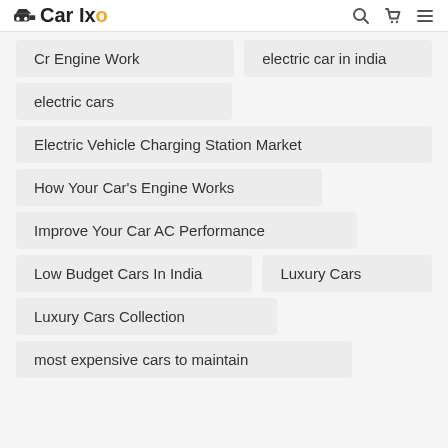CarIxo
Cr Engine Work
electric car in india
electric cars
Electric Vehicle Charging Station Market
How Your Car's Engine Works
Improve Your Car AC Performance
Low Budget Cars In India
Luxury Cars
Luxury Cars Collection
most expensive cars to maintain